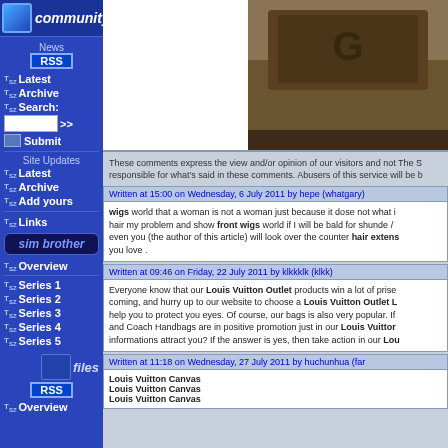[Figure (screenshot): Website sidebar with community navigation links and sim brother section]
[Figure (screenshot): Game screenshot showing wooden surface with object]
These comments express the view and/or opinion of our visitors and not The Sims Zone. We are not responsible for what's said in these comments. Abusers of this service will be banned.
Written at 15:00 on Wednesday, 6 July 2011 by hepe (whatgary)
wigs world that a woman is not a woman just because it dose not what it dose my hair my problem and show front wigs world if I will be bald for shunde / even you (the author of this article) will look over the counter hair extensions you love .
Written at 09:46 on Friday, 22 July 2011 by klkkklk (klkk)
Everyone know that our Louis Vuitton Outlet products win a lot of prises coming, and hurry up to our website to choose a Louis Vuitton Outlet L help you to protect you eyes. Of course, our bags is also very popular. If and Coach Handbags are in positive promotion just in our Louis Vuitton informations attract you? If the answer is yes, then take action in our Lou
Written at 11:18 on Wednesday, 27 July 2011 by huchunhua (far
Louis Vuitton Canvas
Louis Vuitton Canvas
Louis Vuitton Canvas